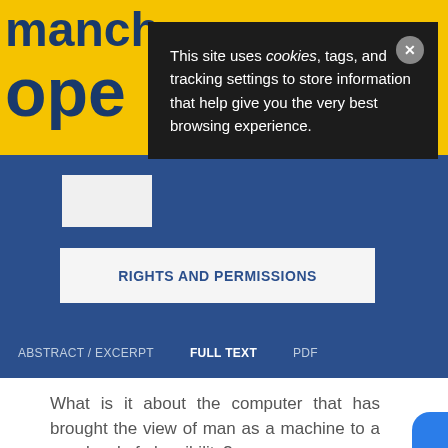[Figure (screenshot): Cookie consent popup overlay on a Manchester University Press Open Access website. Dark popup reads: 'This site uses cookies, tags, and tracking settings to store information that help give you the very best browsing experience.' with an X close button.]
This site uses cookies, tags, and tracking settings to store information that help give you the very best browsing experience.
RIGHTS AND PERMISSIONS
ABSTRACT / EXCERPT   FULL TEXT   PDF
What is it about the computer that has brought the view of man as a machine to a new level of plausibility?
(Weizenbaum, 1976: 1–16)
We, all of us, have made the world too much into a